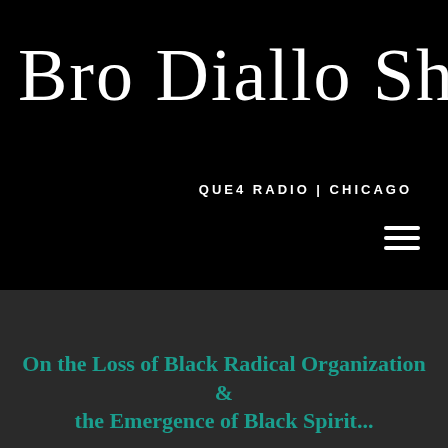Bro Diallo Show
QUE4 RADIO | CHICAGO
[Figure (other): Hamburger menu icon — three horizontal white lines]
On the Loss of Black Radical Organization & the Emergence of Black Spirit...